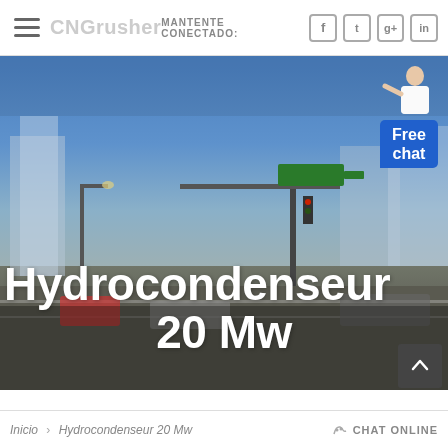CNGrusher — MANTENTE CONECTADO: [Facebook] [Twitter] [Google+] [LinkedIn]
[Figure (photo): Hero banner with a city street intersection scene under a blue sky, used as background. Contains bold white text 'Hydrocondenseur 20 Mw' overlaid on the photo.]
Hydrocondenseur 20 Mw
Inicio > Hydrocondenseur 20 Mw    CHAT ONLINE